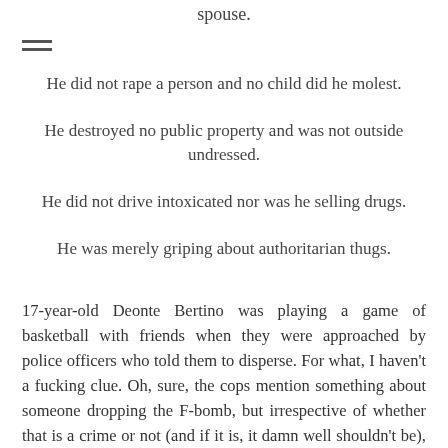spouse.
He did not rape a person and no child did he molest.
He destroyed no public property and was not outside undressed.
He did not drive intoxicated nor was he selling drugs.
He was merely griping about authoritarian thugs.
17-year-old Deonte Bertino was playing a game of basketball with friends when they were approached by police officers who told them to disperse. For what, I haven't a fucking clue. Oh, sure, the cops mention something about someone dropping the F-bomb, but irrespective of whether that is a crime or not (and if it is, it damn well shouldn't be), that is no justification for telling the teens to leave. In the process of following those